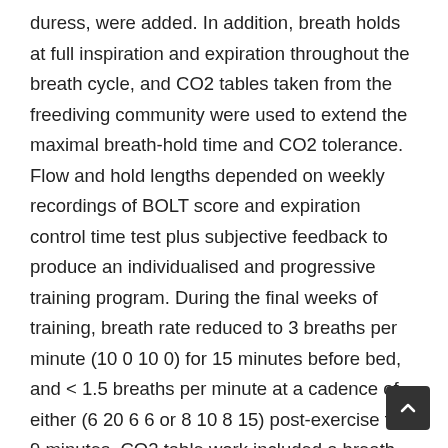duress, were added. In addition, breath holds at full inspiration and expiration throughout the breath cycle, and CO2 tables taken from the freediving community were used to extend the maximal breath-hold time and CO2 tolerance. Flow and hold lengths depended on weekly recordings of BOLT score and expiration control time test plus subjective feedback to produce an individualised and progressive training program. During the final weeks of training, breath rate reduced to 3 breaths per minute (10 0 10 0) for 15 minutes before bed, and < 1.5 breaths per minute at a cadence of either (6 20 6 6 or 8 10 8 15) post-exercise for 9 minutes. CO2 table work included a breath-hold of 50% max, reducing flow time as recovery between sets ranging from 6-8, three times weekly. A Non – Sleep Deep Rest (NSDR; Huberman, 2021) protocol was implemented at least three times weekly to promote relaxation. The pati continued to exercise at his regular schedule. Other than